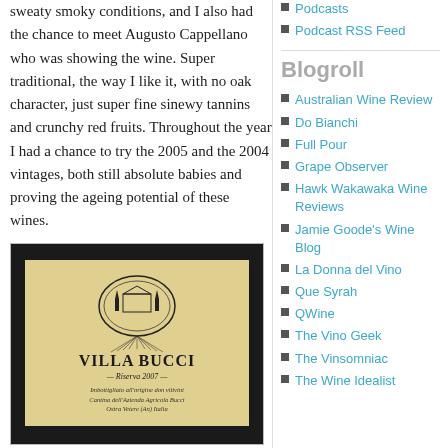sweaty smoky conditions, and I also had the chance to meet Augusto Cappellano who was showing the wine. Super traditional, the way I like it, with no oak character, just super fine sinewy tannins and crunchy red fruits. Throughout the year I had a chance to try the 2005 and the 2004 vintages, both still absolute babies and proving the ageing potential of these wines.
[Figure (photo): A wine bottle label for Villa Bucci Riserva, showing an oval emblem with a villa and trees, the name VILLA BUCCI in large bold text, and italic script text below including 'Riserva' and estate details in Italian.]
Podcasts
Podcast RSS Feed
Blogroll
Australian Wine Review
Do Bianchi
Full Pour
Grape Observer
Hawk Wakawaka Wine Reviews
Jamie Goode's Wine Blog
La Donna del Vino
Que Syrah
QWine
The Vino Geek
The Vinsomniac
The Wine Idealist